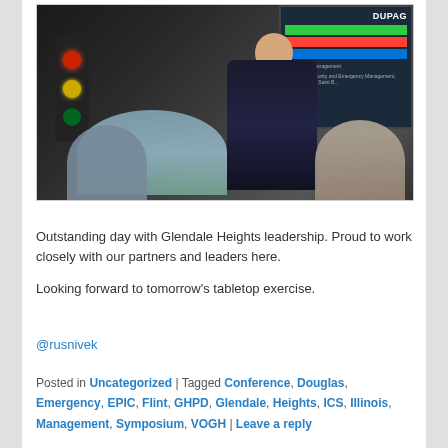[Figure (photo): A presenter in a dark suit standing at the front of a conference room with a projection screen showing a DuPage County presentation. Audience members are seated with their backs to camera. A traffic light prop is visible on the left.]
Outstanding day with Glendale Heights leadership. Proud to work closely with our partners and leaders here.

Looking forward to tomorrow's tabletop exercise.
@rusnivek
Posted in Uncategorized | Tagged Conference, Douglas, Emergency, EPIC, Flint, GHPD, Glendale, Heights, ICS, Illinois, Management, Symposium, VOGH | Leave a reply